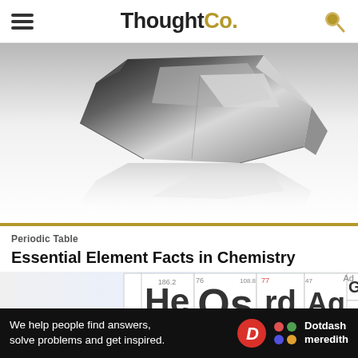ThoughtCo.
[Figure (photo): A shiny metallic crystal or chunk of metal with reflective surface, shown on a white background with its reflection below.]
Periodic Table
Essential Element Facts in Chemistry
[Figure (photo): Close-up of periodic table tiles showing element symbols He, Os, Rd, Ag, Ga, Cd and others with atomic numbers.]
We help people find answers, solve problems and get inspired.
[Figure (logo): Dotdash Meredith logo with red circle D and colorful dots pattern.]